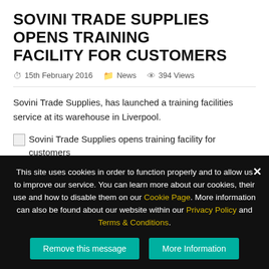SOVINI TRADE SUPPLIES OPENS TRAINING FACILITY FOR CUSTOMERS
15th February 2016   News   394 Views
Sovini Trade Supplies, has launched a training facilities service at its warehouse in Liverpool.
[Figure (photo): Broken image placeholder: Sovini Trade Supplies opens training facility for customers]
The business, which is based in Aintree, has extended the hire of its on-site training space to external companies who wish to use it for staff development purposes.
Most recently, Sefton Building Control and John Brash hosted a
This site uses cookies in order to function properly and to allow us to improve our service. You can learn more about our cookies, their use and how to disable them on our Cookie Page. More information can also be found about our website within our Privacy Policy and Terms & Conditions.